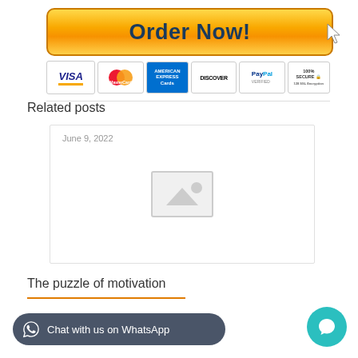[Figure (other): Order Now! button with golden gradient background and cursor icon]
[Figure (other): Payment method icons: VISA, MasterCard, American Express, Discover, PayPal, 100% Secure 128 SSL Encryption]
Related posts
[Figure (photo): Blank post card with date label June 9, 2022 and placeholder image icon]
June 9, 2022
The puzzle of motivation
Read more
[Figure (other): Chat with us on WhatsApp button (dark rounded pill) and teal chat bubble button]